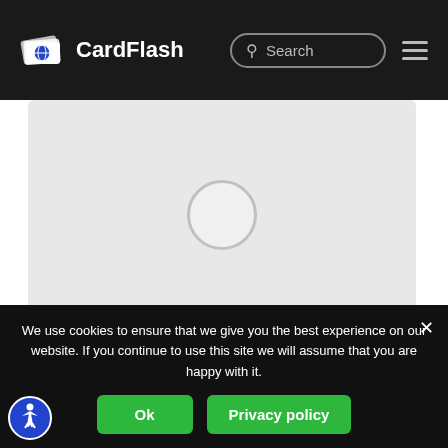CardFlash
[Figure (screenshot): Gray placeholder card image area with a circular spinner/loader in the center]
DFS CC ABS
7, Country, Priority, UNITED STATES • By Robert McKinley • 04/09/2015
We use cookies to ensure that we give you the best experience on our website. If you continue to use this site we will assume that you are happy with it.